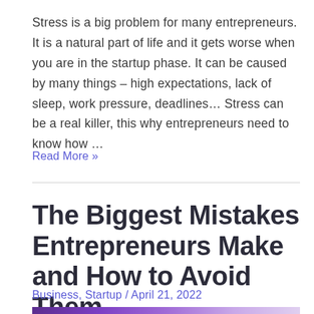Stress is a big problem for many entrepreneurs. It is a natural part of life and it gets worse when you are in the startup phase. It can be caused by many things – high expectations, lack of sleep, work pressure, deadlines… Stress can be a real killer, this why entrepreneurs need to know how …
Read More »
The Biggest Mistakes Entrepreneurs Make and How to Avoid Them
Business, Startup / April 21, 2022
[Figure (photo): Partial view of a banner/header image at the bottom of the page, showing a purple gradient band]